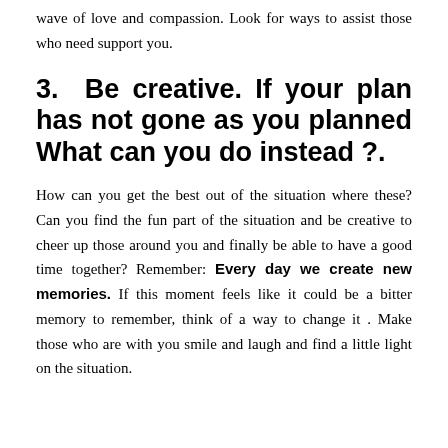wave of love and compassion. Look for ways to assist those who need support you.
3.  Be creative. If your plan has not gone as you planned What can you do instead ?.
How can you get the best out of the situation where these? Can you find the fun part of the situation and be creative to cheer up those around you and finally be able to have a good time together? Remember: Every day we create new memories. If this moment feels like it could be a bitter memory to remember, think of a way to change it . Make those who are with you smile and laugh and find a little light on the situation.